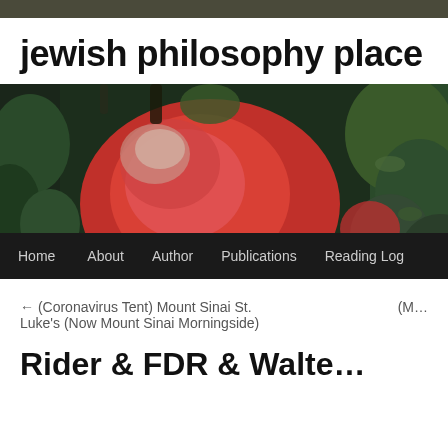jewish philosophy place
[Figure (photo): Close-up blurred photo of red apples on a tree with green leaves in background]
Home   About   Author   Publications   Reading Log
← (Coronavirus Tent) Mount Sinai St. Luke's (Now Mount Sinai Morningside)   (M…
Rider & FDR & Walte…